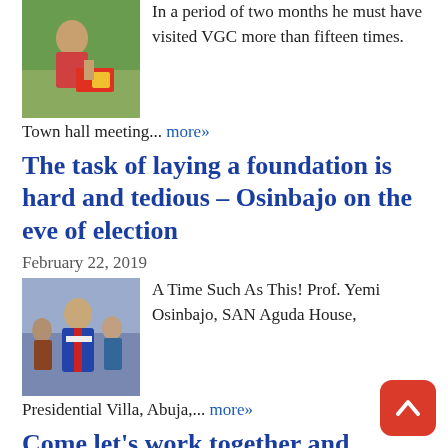[Figure (photo): Person with red and yellow item, outdoor scene]
In a period of two months he must have visited VGC more than fifteen times. Town hall meeting... more»
The task of laying a foundation is hard and tedious – Osinbajo on the eve of election
February 22, 2019
[Figure (photo): Prof. Yemi Osinbajo in ceremonial attire at event]
A Time Such As This! Prof. Yemi Osinbajo, SAN Aguda House, Presidential Villa, Abuja,... more»
Come let's work together and rebuild Nigeria –